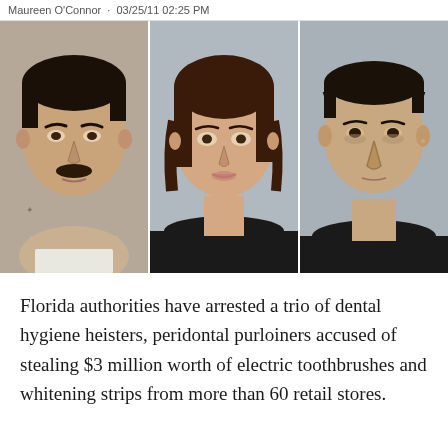Maureen O'Connor · 03/25/11 02:25 PM
[Figure (photo): Three mugshot photos side by side: a young white male with dark hair and a mustache (left), a young white female with dark hair (center), a middle-aged white male with short dark hair (right)]
Florida authorities have arrested a trio of dental hygiene heisters, peridontal purloiners accused of stealing $3 million worth of electric toothbrushes and whitening strips from more than 60 retail stores.